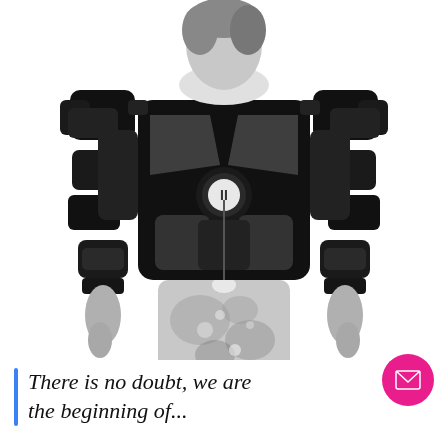[Figure (photo): Black and white photo of a person wearing a futuristic sci-fi tactical armor/exosuit with modular components on the chest, shoulders, and forearms. The lower body shows galaxy/nebula patterned leggings. White background.]
There is no doubt, we are the beginning of...